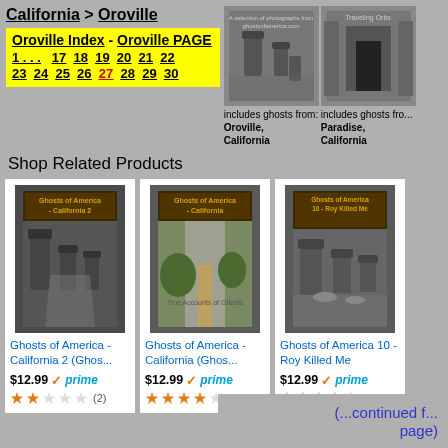California > Oroville
Oroville Index - Oroville PAGE
1 . . . 17 18 19 20 21 22
23 24 25 26 27 28 29 30
[Figure (photo): Two book cover photos for Ghosts of America series at top right]
includes ghosts from: Oroville, California
includes ghosts fro... Paradise, California
Shop Related Products
[Figure (photo): Ghosts of America - California 2 book cover]
Ghosts of America - California 2 (Ghos...
$12.99 prime  (2)
[Figure (photo): Ghosts of America - California book cover]
Ghosts of America - California (Ghos...
$12.99 prime  (4)
[Figure (photo): Ghosts of America 10 - Roy Killed Me book cover]
Ghosts of America 10 - Roy Killed Me
$12.99 prime  (9)
(...continued f... page)